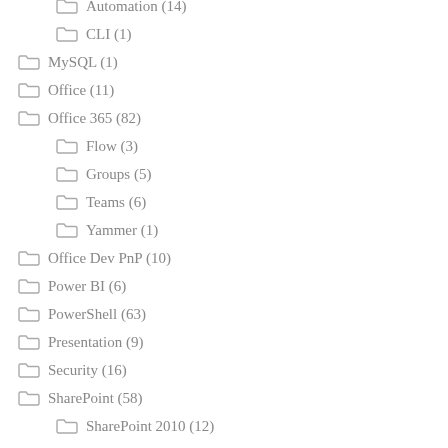Automation (14)
CLI (1)
MySQL (1)
Office (11)
Office 365 (82)
Flow (3)
Groups (5)
Teams (6)
Yammer (1)
Office Dev PnP (10)
Power BI (6)
PowerShell (63)
Presentation (9)
Security (16)
SharePoint (58)
SharePoint 2010 (12)